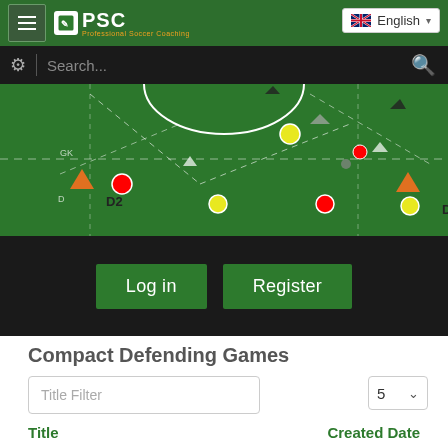[Figure (screenshot): PSC (Professional Soccer Coaching) website header with green navigation bar, PSC logo, English language selector, dark search bar with gear icon and search placeholder, and a soccer tactical board field showing players labeled D2, D5 with red and yellow dots, dashed lines, and arrows on a green background.]
Log in
Register
Compact Defending Games
Title Filter
5
Title
Created Date